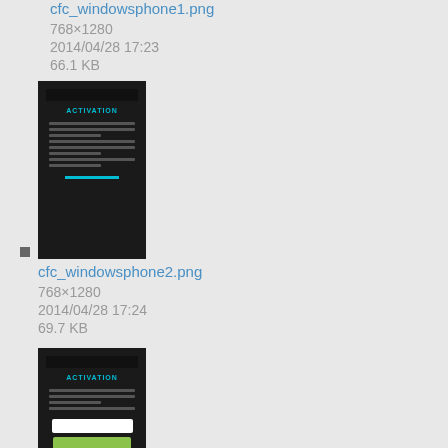cfc_windowsphone1.png
768×1280
2014/04/28 17:23
66.1 KB
[Figure (screenshot): Thumbnail of cfc_windowsphone1.png showing a dark mobile screen with ACTIVATION heading and white text]
cfc_windowsphone2.png
768×1280
2014/04/28 17:24
69.7 KB
[Figure (screenshot): Thumbnail of cfc_windowsphone2.png showing a dark mobile screen with ACTIVATION heading, input field, and green button]
cfc_windowsphone3.png
768×1280
2014/04/28 17:24
76.6 KB